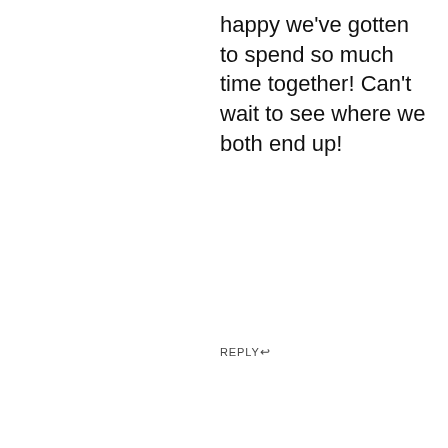happy we've gotten to spend so much time together! Can't wait to see where we both end up!
REPLY ↩
Ali
July 4, 2012at8:03 am
[Figure (photo): Avatar photo of Ali, a woman with long dark hair wearing a black shirt, outdoors with greenery in background]
I love the way you